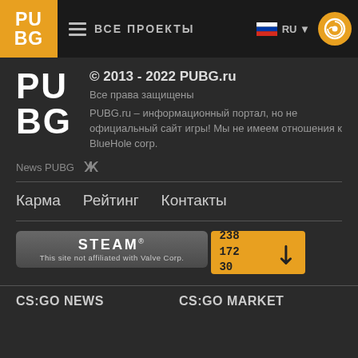PUBG — ВСЕ ПРОЕКТЫ — RU
[Figure (logo): PUBG logo large text]
© 2013 - 2022 PUBG.ru
Все права защищены
PUBG.ru – информационный портал, но не официальный сайт игры! Мы не имеем отношения к BlueHole corp.
News PUBG
Карма
Рейтинг
Контакты
[Figure (logo): Steam badge — This site not affiliated with Valve Corp.]
[Figure (infographic): IP address badge: 238 172 30 with arrow]
CS:GO NEWS
CS:GO MARKET